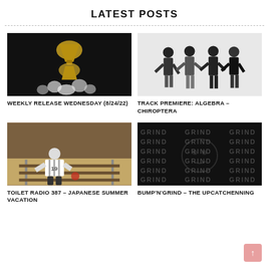LATEST POSTS
[Figure (photo): Dark hourglass with glowing light and white smoke/fire below on black background]
WEEKLY RELEASE WEDNESDAY (8/24/22)
[Figure (photo): Four band members in black clothing standing against white background]
TRACK PREMIERE: ALGEBRA – CHIROPTERA
[Figure (photo): Person in baseball jersey crouching on train tracks]
TOILET RADIO 387 – JAPANESE SUMMER VACATION
[Figure (photo): Dark background with repeated GRIND text watermark pattern]
BUMP'N'GRIND – THE UPCATCHENNING